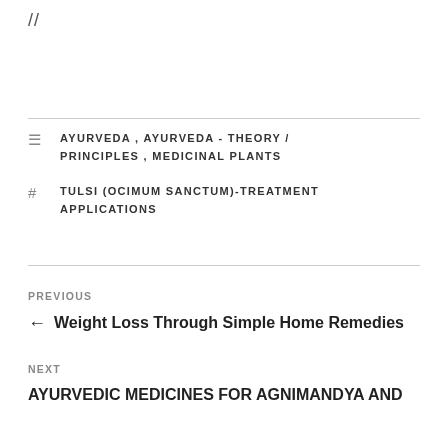//
AYURVEDA, AYURVEDA - THEORY / PRINCIPLES, MEDICINAL PLANTS
TULSI (OCIMUM SANCTUM)-TREATMENT APPLICATIONS
PREVIOUS
← Weight Loss Through Simple Home Remedies
NEXT
AYURVEDIC MEDICINES FOR AGNIMANDYA AND